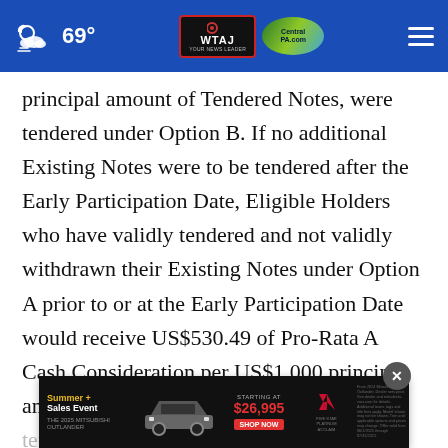69° | WTAJ CentralPA.com
principal amount of Tendered Notes, were tendered under Option B. If no additional Existing Notes were to be tendered after the Early Participation Date, Eligible Holders who have validly tendered and not validly withdrawn their Existing Notes under Option A prior to or at the Early Participation Date would receive US$530.49 of Pro-Rata A Cash Consideration per US$1,000 principal amount of Existing Notes tendered under Option A prior to the Early Participation Date, the actual cash consideration to be
[Figure (screenshot): Mitsubishi Outlander Summer Sales Event advertisement banner starting at $26,995]